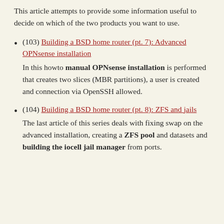This article attempts to provide some information useful to decide on which of the two products you want to use.
(103) Building a BSD home router (pt. 7): Advanced OPNsense installation — In this howto manual OPNsense installation is performed that creates two slices (MBR partitions), a user is created and connection via OpenSSH allowed.
(104) Building a BSD home router (pt. 8): ZFS and jails — The last article of this series deals with fixing swap on the advanced installation, creating a ZFS pool and datasets and building the iocell jail manager from ports.